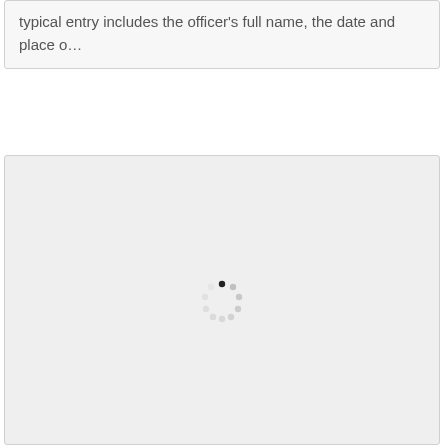typical entry includes the officer's full name, the date and place o…
[Figure (other): A loading spinner (circular dashed ring with one dark segment) centered in a light gray placeholder box, indicating content is still loading.]